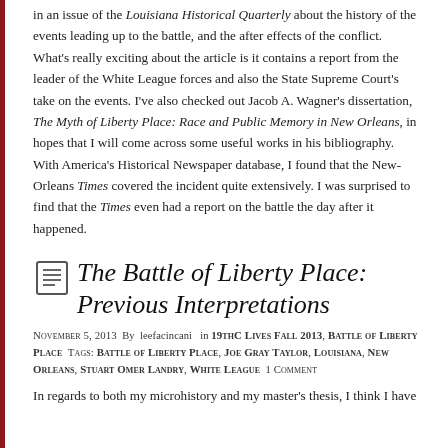in an issue of the Louisiana Historical Quarterly about the history of the events leading up to the battle, and the after effects of the conflict. What's really exciting about the article is it contains a report from the leader of the White League forces and also the State Supreme Court's take on the events. I've also checked out Jacob A. Wagner's dissertation, The Myth of Liberty Place: Race and Public Memory in New Orleans, in hopes that I will come across some useful works in his bibliography. With America's Historical Newspaper database, I found that the New-Orleans Times covered the incident quite extensively. I was surprised to find that the Times even had a report on the battle the day after it happened.
The Battle of Liberty Place: Previous Interpretations
November 5, 2013  By leefacincani  in 19thC Lives Fall 2013, Battle of Liberty Place  Tags: Battle of Liberty Place, Joe Gray Taylor, Louisiana, New Orleans, Stuart Omer Landry, White League  1 Comment
In regards to both my microhistory and my master's thesis, I think I have